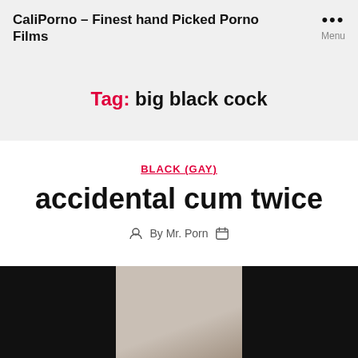CaliPorno – Finest hand Picked Porno Films
Tag: big black cock
BLACK (GAY)
accidental cum twice
By Mr. Porn
[Figure (photo): Thumbnail image for the post, partially obscured by black bars on left and right sides]